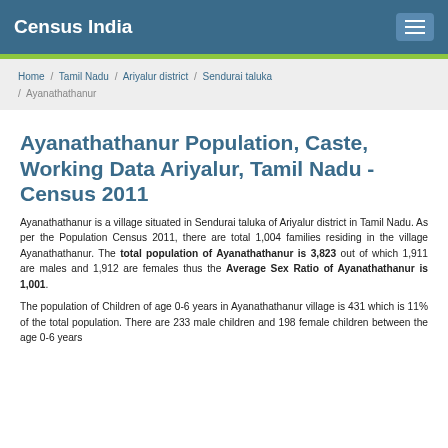Census India
Home / Tamil Nadu / Ariyalur district / Sendurai taluka / Ayanathathanur
Ayanathathanur Population, Caste, Working Data Ariyalur, Tamil Nadu - Census 2011
Ayanathathanur is a village situated in Sendurai taluka of Ariyalur district in Tamil Nadu. As per the Population Census 2011, there are total 1,004 families residing in the village Ayanathathanur. The total population of Ayanathathanur is 3,823 out of which 1,911 are males and 1,912 are females thus the Average Sex Ratio of Ayanathathanur is 1,001.
The population of Children of age 0-6 years in Ayanathathanur village is 431 which is 11% of the total population. There are 233 male children and 198 female children between the age 0-6 years